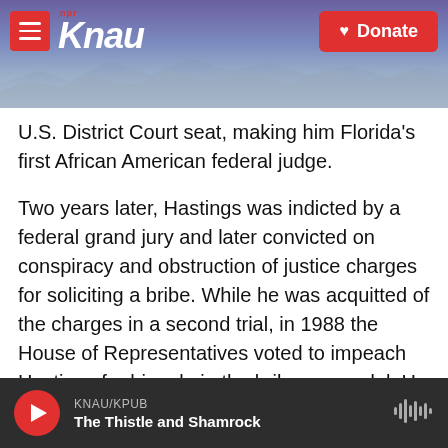[Figure (screenshot): KNAU NPR radio station website header with logo, hamburger menu button, mountain landscape background, and red Donate button]
U.S. District Court seat, making him Florida's first African American federal judge.
Two years later, Hastings was indicted by a federal grand jury and later convicted on conspiracy and obstruction of justice charges for soliciting a bribe. While he was acquitted of the charges in a second trial, in 1988 the House of Representatives voted to impeach Hastings for his role in the bribery scandal. He was convicted in the Senate and removed from the federal bench.
In 1992, he ran and was elected to Congress. For
KNAU/KPUB
The Thistle and Shamrock